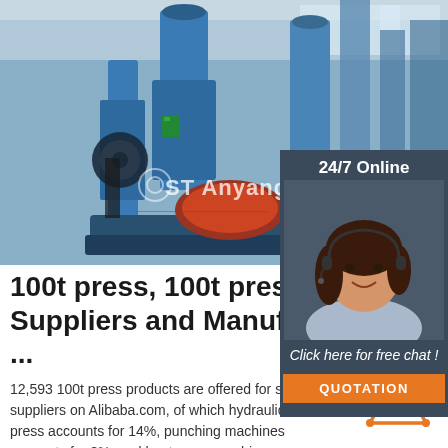[Figure (photo): Blue industrial 100t press machine, with ST Anyang logo/watermark overlay. Large blue forging/stamping press equipment in a factory setting.]
[Figure (photo): 24/7 Online chat widget with photo of smiling female customer service agent wearing headset, dark background, with 'Click here for free chat!' text and orange QUOTATION button.]
100t press, 100t press Suppliers and Manufacturers at ...
12,593 100t press products are offered for sale by suppliers on Alibaba.com, of which hydraulic press accounts for 14%, punching machines accounts for 3%, and heat press machines accounts for 1%. A wide variety
[Figure (logo): TOP badge - orange triangle/arrow shape with dots and 'TOP' text in orange]